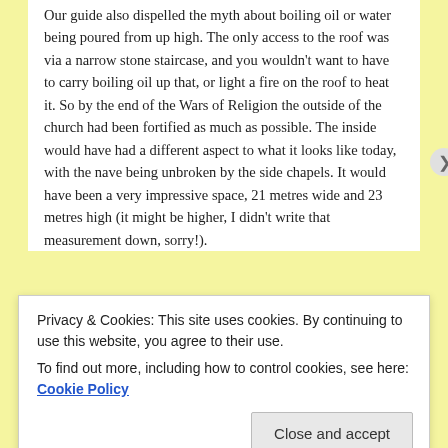Our guide also dispelled the myth about boiling oil or water being poured from up high. The only access to the roof was via a narrow stone staircase, and you wouldn't want to have to carry boiling oil up that, or light a fire on the roof to heat it. So by the end of the Wars of Religion the outside of the church had been fortified as much as possible. The inside would have had a different aspect to what it looks like today, with the nave being unbroken by the side chapels. It would have been a very impressive space, 21 metres wide and 23 metres high (it might be higher, I didn't write that measurement down, sorry!).
Works Best
Privacy & Cookies: This site uses cookies. By continuing to use this website, you agree to their use.
To find out more, including how to control cookies, see here: Cookie Policy